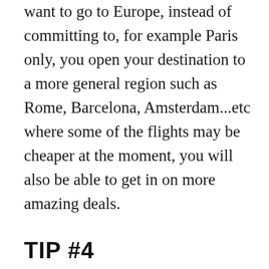want to go to Europe, instead of committing to, for example Paris only, you open your destination to a more general region such as Rome, Barcelona, Amsterdam...etc where some of the flights may be cheaper at the moment, you will also be able to get in on more amazing deals.
TIP #4
Fare Alerts/Track Prices
Websites such as Kayak and Google Flights allows you to do a search for a specific destination and dates and set up an alert when